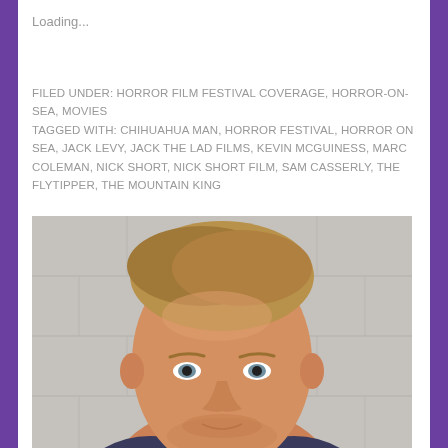Loading...
FILED UNDER: HORROR FILM FESTIVAL COVERAGE, HORROR-ON-SEA, MOVIES
TAGGED WITH: CHIHUAHUA MAN, HORROR FESTIVAL, HORROR ON SEA, JACK LEVY, JACK THE LAD FILMS, KEVIN MCGUINESS, MARC COLEMAN, NICK SHORT, NICK SHORT FILM, SAM CASSERLY, THE FLYTIPPER, THE MOUNTAIN KING
[Figure (photo): Headshot of a young man with short blonde hair against a light grey brick wall background. The photo is cropped to show the head and upper shoulders. The man has blue eyes and light stubble.]